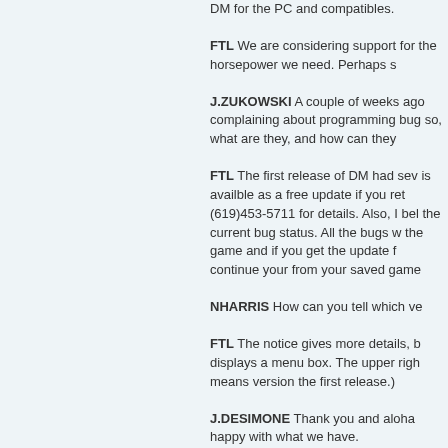DM for the PC and compatibles.
FTL We are considering support for the horsepower we need. Perhaps s
J.ZUKOWSKI A couple of weeks ago complaining about programming bug so, what are they, and how can they
FTL The first release of DM had sev is availble as a free update if you ret (619)453-5711 for details. Also, I bel the current bug status. All the bugs w the game and if you get the update f continue your from your saved game
NHARRIS How can you tell which ve
FTL The notice gives more details, b displays a menu box. The upper righ means version the first release.)
J.DESIMONE Thank you and aloha happy with what we have.